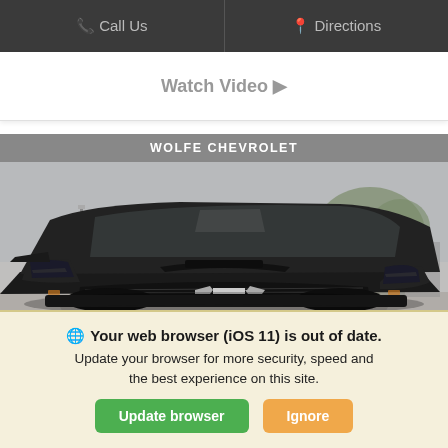Call Us   Directions
Watch Video ▶
WOLFE CHEVROLET
[Figure (photo): Front view of a black Chevrolet pickup truck (Silverado) with bowtie logo, parked at a dealership lot with trees and buildings in background]
Your web browser (iOS 11) is out of date. Update your browser for more security, speed and the best experience on this site.
Update browser   Ignore